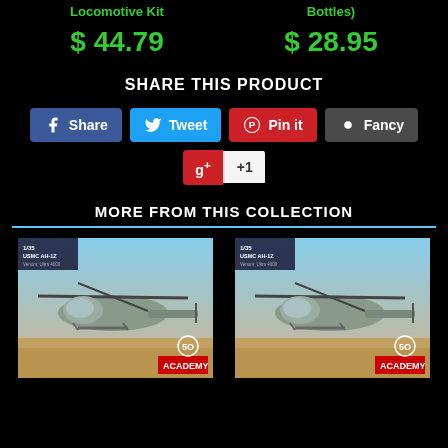Locomotive Kit
$ 44.79
Bottles)
$ 28.95
SHARE THIS PRODUCT
Share
Tweet
Pin it
Fancy
g+ +1
MORE FROM THIS COLLECTION
[Figure (photo): USMC AH-1Z helicopter model kit box art - left product]
[Figure (photo): USMC AH-1Z helicopter model kit box art - right product]